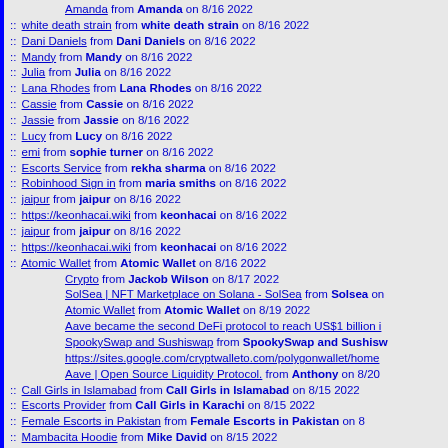Amanda from Amanda on 8/16 2022
:: white death strain from white death strain on 8/16 2022
:: Dani Daniels from Dani Daniels on 8/16 2022
:: Mandy from Mandy on 8/16 2022
:: Julia from Julia on 8/16 2022
:: Lana Rhodes from Lana Rhodes on 8/16 2022
:: Cassie from Cassie on 8/16 2022
:: Jassie from Jassie on 8/16 2022
:: Lucy from Lucy on 8/16 2022
:: emi from sophie turner on 8/16 2022
:: Escorts Service from rekha sharma on 8/16 2022
:: Robinhood Sign in from maria smiths on 8/16 2022
:: jaipur from jaipur on 8/16 2022
:: https://keonhacai.wiki from keonhacai on 8/16 2022
:: jaipur from jaipur on 8/16 2022
:: https://keonhacai.wiki from keonhacai on 8/16 2022
:: Atomic Wallet from Atomic Wallet on 8/16 2022
Crypto from Jackob Wilson on 8/17 2022
SolSea | NFT Marketplace on Solana - SolSea from Solsea on
Atomic Wallet from Atomic Wallet on 8/19 2022
Aave became the second DeFi protocol to reach US$1 billion i
SpookySwap and Sushiswap from SpookySwap and Sushisw
https://sites.google.com/cryptwalleto.com/polygonwallet/home
Aave | Open Source Liquidity Protocol. from Anthony on 8/20
:: Call Girls in Islamabad from Call Girls in Islamabad on 8/15 2022
:: Escorts Provider from Call Girls in Karachi on 8/15 2022
:: Female Escorts in Pakistan from Female Escorts in Pakistan on 8
:: Mambacita Hoodie from Mike David on 8/15 2022
:: https://keonhacai.wiki from keo nha cai on 8/15 2022
:: Call girls from Call girls in Islamabad on 8/15 2022